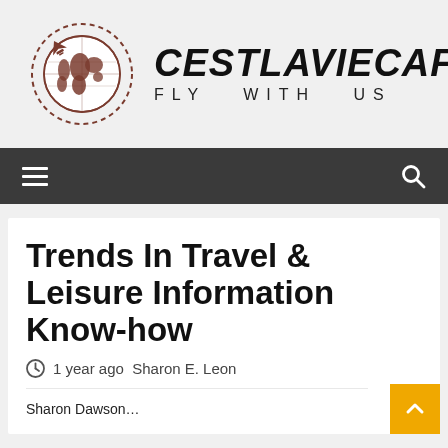[Figure (logo): CestLaVieCafe website logo: a globe with airplane icon inside a dashed circle, brown/maroon color, with site name CESTLAVIECAFE in bold italic black and tagline FLY WITH US in spaced sans-serif]
CESTLAVIECAFE  FLY WITH US
Trends In Travel & Leisure Information Know-how
1 year ago  Sharon E. Leon